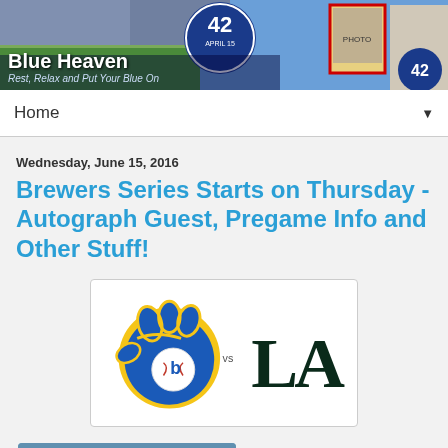[Figure (illustration): Blue Heaven blog header banner with baseball imagery, Jackie Robinson '42' logo, and Dodgers imagery]
Blue Heaven
Rest, Relax and Put Your Blue On
Home ▼
Wednesday, June 15, 2016
Brewers Series Starts on Thursday - Autograph Guest, Pregame Info and Other Stuff!
[Figure (illustration): Milwaukee Brewers logo (gold and blue glove with 'b' and baseball) vs LA Dodgers logo matchup graphic on white background]
[Figure (photo): Food photo at Dodger Stadium showing what appears to be a Dodger Dog or stadium food with Coca-Cola pennant in background]